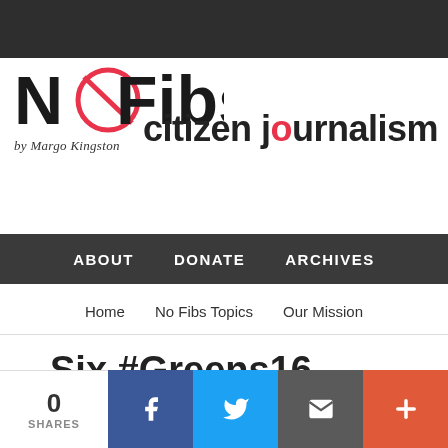[Figure (logo): NoFibs logo with red circle-slash O, by Margo Kingston tagline]
citizen journalism
ABOUT   DONATE   ARCHIVES
Home   No Fibs Topics   Our Mission
Six #Greens16 contests to
0 SHARES